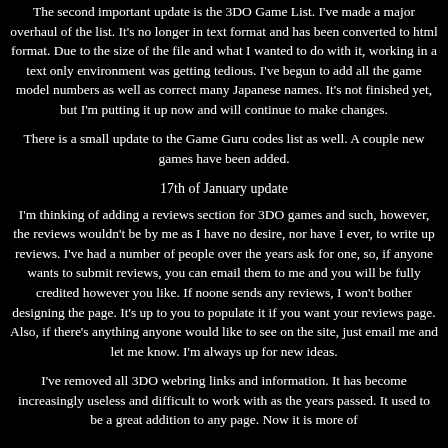The second important update is the 3DO Game List. I've made a major overhaul of the list. It's no longer in text format and has been converted to html format. Due to the size of the file and what I wanted to do with it, working in a text only environment was getting tedious. I've begun to add all the game model numbers as well as correct many Japanese names. It's not finished yet, but I'm putting it up now and will continue to make changes.
There is a small update to the Game Guru codes list as well. A couple new games have been added.
17th of January update
I'm thinking of adding a reviews section for 3DO games and such, however, the reviews wouldn't be by me as I have no desire, nor have I ever, to write up reviews. I've had a number of people over the years ask for one, so, if anyone wants to submit reviews, you can email them to me and you will be fully credited however you like. If noone sends any reviews, I won't bother designing the page. It's up to you to populate it if you want your reviews page. Also, if there's anything anyone would like to see on the site, just email me and let me know. I'm always up for new ideas.
I've removed all 3DO webring links and information. It has become increasingly useless and difficult to work with as the years passed. It used to be a great addition to any page. Now it is more of